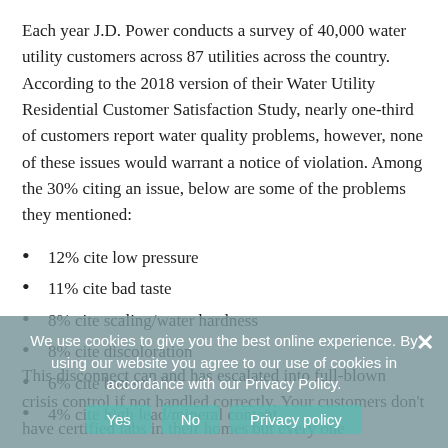Each year J.D. Power conducts a survey of 40,000 water utility customers across 87 utilities across the country. According to the 2018 version of their Water Utility Residential Customer Satisfaction Study, nearly one-third of customers report water quality problems, however, none of these issues would warrant a notice of violation. Among the 30% citing an issue, below are some of the problems they mentioned:
12% cite low pressure
11% cite bad taste
8% cite scaling/water hardness
8% cite discoloration
6% cite bad smell
4% cite high lead/mineral content
This disconnect can and has escalated into full-blown crisis control if not handled correctly. Your customers don't have certified labs in their homes but every one